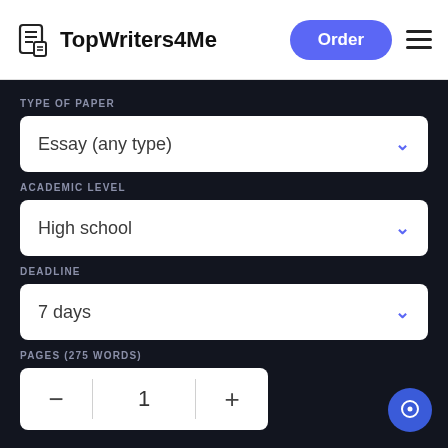[Figure (logo): TopWriters4Me logo with document icon and text]
Order
TYPE OF PAPER
Essay (any type)
ACADEMIC LEVEL
High school
DEADLINE
7 days
PAGES (275 WORDS)
1